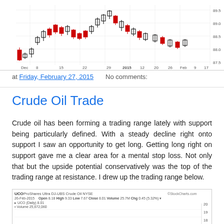[Figure (continuous-plot): Candlestick chart showing crude oil price movements from December 2014 to February 2015, with price range approximately 87.5 to 89.5]
at Friday, February 27, 2015   No comments:
Crude Oil Trade
Crude oil has been forming a trading range lately with support being particularly defined. With a steady decline right onto support I saw an opportunity to get long. Getting long right on support gave me a clear area for a mental stop loss. Not only that but the upside potential conservatively was the top of the trading range at resistance. I drew up the trading range below.
[Figure (continuous-plot): UCO ProShares Ultra DJ-UBS Crude Oil NYSE stock chart, 26-Feb-2015, Open 8.18 High 9.33 Low 7.67 Close 8.01 Volume 25.7M Chg 0.45 (5.32%), Daily chart showing UCO at 8.01, Volume 25,672,060, with price around 18-20 range visible]